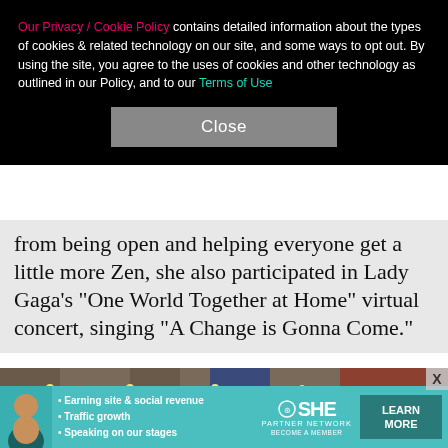Our Privacy / Cookie Policy contains detailed information about the types of cookies & related technology on our site, and some ways to opt out. By using the site, you agree to the uses of cookies and other technology as outlined in our Policy, and to our Terms of Use
Close
from being open and helping everyone get a little more Zen, she also participated in Lady Gaga's "One World Together at Home" virtual concert, singing "A Change is Gonna Come."
[Figure (photo): Woman standing in front of large illuminated marquee letters spelling 'GOOD MORNING' with light bulbs, in an entertainment or talk show setting]
[Figure (infographic): SHE Partner Network advertisement banner: Earning site & social revenue, Traffic growth, Speaking on our stages. Learn More button.]